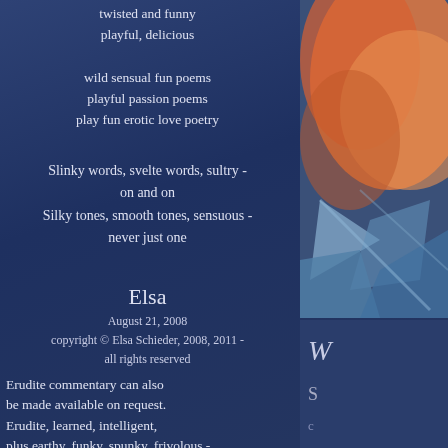twisted and funny
playful, delicious
wild sensual fun poems
playful passion poems
play fun erotic love poetry
Slinky words, svelte words, sultry -
on and on
Silky tones, smooth tones, sensuous -
never just one
Elsa
August 21, 2008
copyright © Elsa Schieder, 2008, 2011 -
all rights reserved
Erudite commentary can also be made available on request. Erudite, learned, intelligent, plus earthy, funky, spunky, frivolous - playful, fun, smart and also snarky - like the Sexe-Tetes.
So no sneering at erudition,
[Figure (photo): Partial image of floral/abstract artwork in warm orange and peach tones on blue background, top right]
[Figure (photo): Partial image bottom right, dark blue with partial text beginning with W and S]